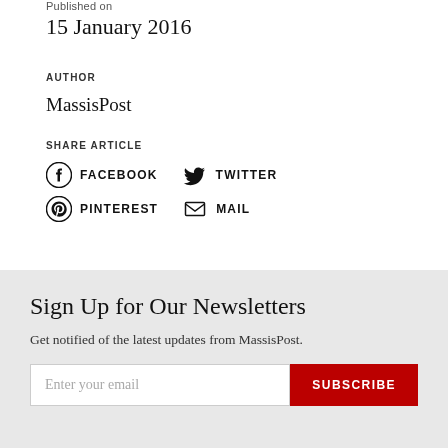Published on
15 January 2016
AUTHOR
MassisPost
SHARE ARTICLE
[Figure (infographic): Social share icons row: Facebook, Twitter, Pinterest, Mail]
Sign Up for Our Newsletters
Get notified of the latest updates from MassisPost.
Enter your email | SUBSCRIBE